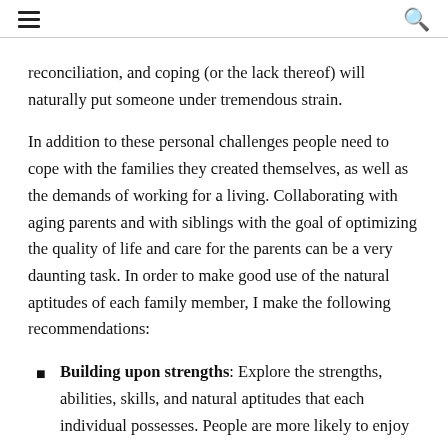≡  🔍
reconciliation, and coping (or the lack thereof) will naturally put someone under tremendous strain.
In addition to these personal challenges people need to cope with the families they created themselves, as well as the demands of working for a living. Collaborating with aging parents and with siblings with the goal of optimizing the quality of life and care for the parents can be a very daunting task. In order to make good use of the natural aptitudes of each family member, I make the following recommendations:
Building upon strengths: Explore the strengths, abilities, skills, and natural aptitudes that each individual possesses. People are more likely to enjoy